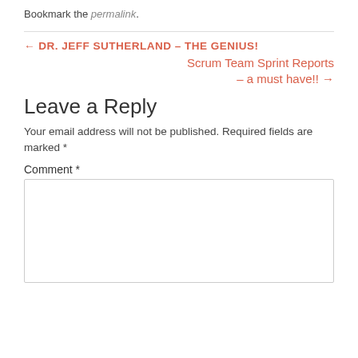Bookmark the permalink.
← DR. JEFF SUTHERLAND – THE GENIUS!
Scrum Team Sprint Reports – a must have!! →
Leave a Reply
Your email address will not be published. Required fields are marked *
Comment *